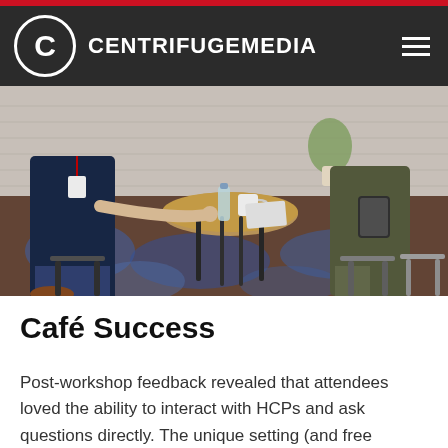CENTRIFUGEMEDIA
[Figure (photo): People networking at a café-style setting with high tables and stools, water bottle and coffee mug on round wooden table, patterned carpet, brick wall in background]
Café Success
Post-workshop feedback revealed that attendees loved the ability to interact with HCPs and ask questions directly. The unique setting (and free